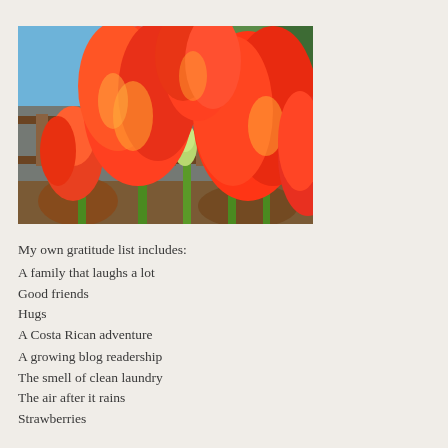[Figure (photo): Close-up photograph of orange and red tulips in bloom against a blue sky background with wooden fence/railing visible behind them.]
My own gratitude list includes:
A family that laughs a lot
Good friends
Hugs
A Costa Rican adventure
A growing blog readership
The smell of clean laundry
The air after it rains
Strawberries